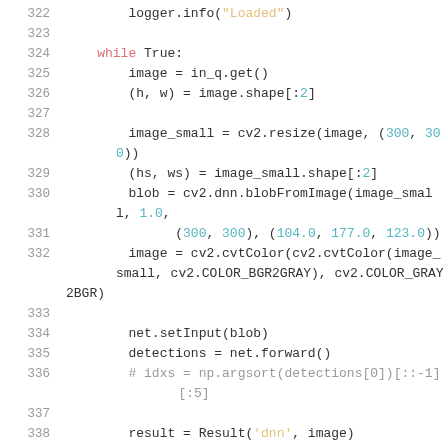[Figure (screenshot): Python source code snippet showing lines 322-340 of a computer vision script using OpenCV (cv2), including a while loop that processes images with DNN face detection]